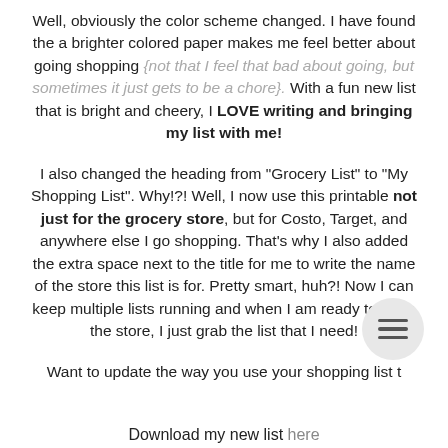Well, obviously the color scheme changed. I have found the a brighter colored paper makes me feel better about going shopping {not that I feel that bad about going, but sometimes it just gets to be a chore}. With a fun new list that is bright and cheery, I LOVE writing and bringing my list with me!
I also changed the heading from "Grocery List" to "My Shopping List". Why!?! Well, I now use this printable not just for the grocery store, but for Costo, Target, and anywhere else I go shopping. That's why I also added the extra space next to the title for me to write the name of the store this list is for. Pretty smart, huh?! Now I can keep multiple lists running and when I am ready to go to the store, I just grab the list that I need!
Want to update the way you use your shopping list t...
Download my new list here